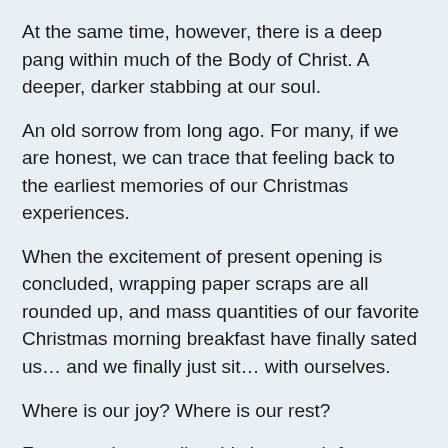At the same time, however, there is a deep pang within much of the Body of Christ. A deeper, darker stabbing at our soul.
An old sorrow from long ago. For many, if we are honest, we can trace that feeling back to the earliest memories of our Christmas experiences.
When the excitement of present opening is concluded, wrapping paper scraps are all rounded up, and mass quantities of our favorite Christmas morning breakfast have finally sated us… and we finally just sit… with ourselves.
Where is our joy? Where is our rest?
For many, just reading this is enough for us to identity with that seemingly ancient, dull malady.
The promise of a gift that we now realize lies not under the tree, and is much greater than the comforts of our holiday